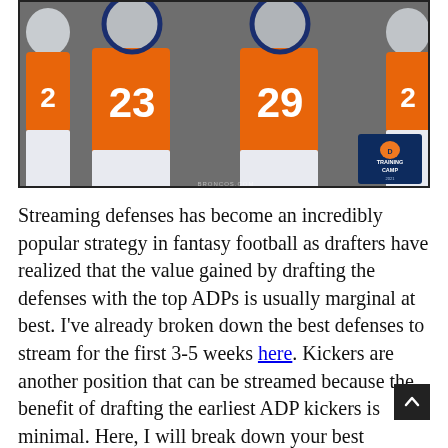[Figure (photo): Denver Broncos players in orange jerseys numbered 23 and 29 posing in a crouched stance during Training Camp. A Training Camp logo badge is visible in the bottom right corner of the photo.]
Streaming defenses has become an incredibly popular strategy in fantasy football as drafters have realized that the value gained by drafting the defenses with the top ADPs is usually marginal at best. I've already broken down the best defenses to stream for the first 3-5 weeks here. Kickers are another position that can be streamed because the benefit of drafting the earliest ADP kickers is minimal. Here, I will break down your best streaming options at both positions both for just the first week and